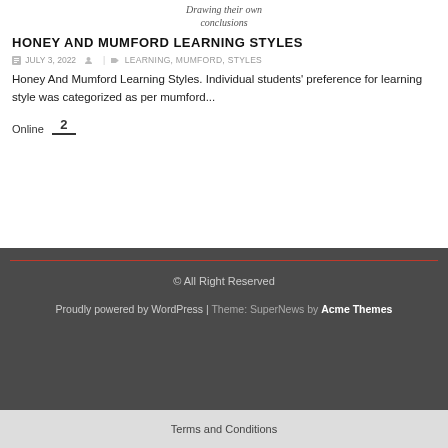Drawing their own conclusions
HONEY AND MUMFORD LEARNING STYLES
JULY 3, 2022   LEARNING, MUMFORD, STYLES
Honey And Mumford Learning Styles. Individual students' preference for learning style was categorized as per mumford...
Online   2
© All Right Reserved
Proudly powered by WordPress | Theme: SuperNews by Acme Themes
Terms and Conditions